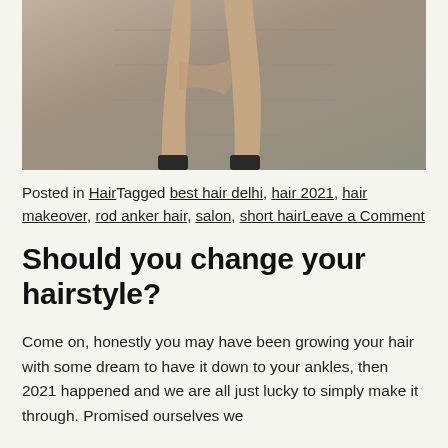[Figure (photo): A person's legs and lower body against a concrete/stone wall background, wearing dark shoes]
Posted in HairTagged best hair delhi, hair 2021, hair makeover, rod anker hair, salon, short hairLeave a Comment
Should you change your hairstyle?
Come on, honestly you may have been growing your hair with some dream to have it down to your ankles, then 2021 happened and we are all just lucky to simply make it through. Promised ourselves we